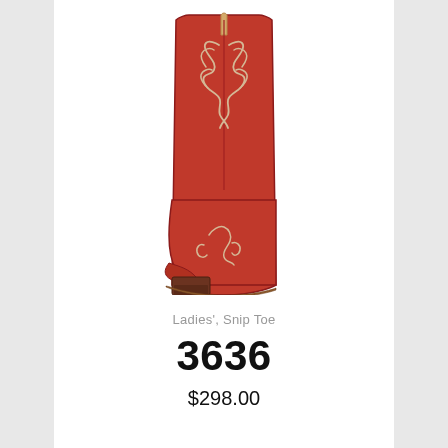[Figure (photo): Red ladies' cowboy boot with snip toe, tall shaft with decorative stitching/embroidery in cream/tan thread on a white background]
Ladies', Snip Toe
3636
$298.00